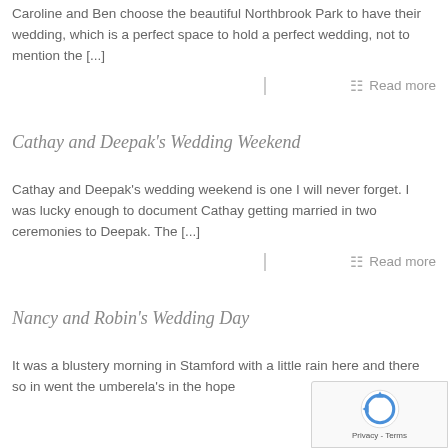Caroline and Ben choose the beautiful Northbrook Park to have their wedding, which is a perfect space to hold a perfect wedding, not to mention the [...]
Read more
Cathay and Deepak's Wedding Weekend
Cathay and Deepak's wedding weekend is one I will never forget. I was lucky enough to document Cathay getting married in two ceremonies to Deepak. The [...]
Read more
Nancy and Robin's Wedding Day
It was a blustery morning in Stamford with a little rain here and there so in went the umberela's in the hope